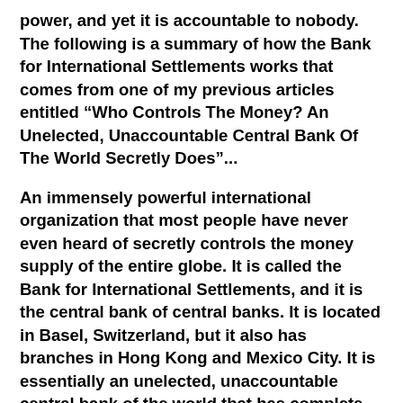power, and yet it is accountable to nobody. The following is a summary of how the Bank for International Settlements works that comes from one of my previous articles entitled “Who Controls The Money? An Unelected, Unaccountable Central Bank Of The World Secretly Does”...
An immensely powerful international organization that most people have never even heard of secretly controls the money supply of the entire globe. It is called the Bank for International Settlements, and it is the central bank of central banks. It is located in Basel, Switzerland, but it also has branches in Hong Kong and Mexico City. It is essentially an unelected, unaccountable central bank of the world that has complete immunity from taxation and from national laws. Even Wikipedia admits that “it is not accountable to any single national government.” The Bank for International Settlements was used to launder money for the Nazis during World War II, but these days the main purpose of the BIS is to guide and direct the centrally-planned global financial